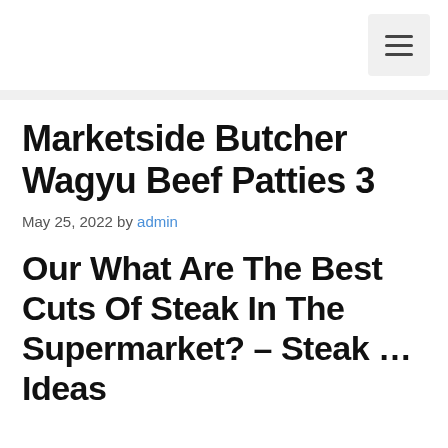≡
Marketside Butcher Wagyu Beef Patties 3
May 25, 2022 by admin
Our What Are The Best Cuts Of Steak In The Supermarket? – Steak … Ideas